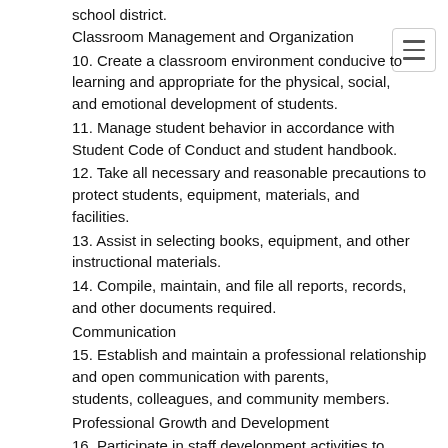school district.
Classroom Management and Organization
10. Create a classroom environment conducive to learning and appropriate for the physical, social, and emotional development of students.
11. Manage student behavior in accordance with Student Code of Conduct and student handbook.
12. Take all necessary and reasonable precautions to protect students, equipment, materials, and facilities.
13. Assist in selecting books, equipment, and other instructional materials.
14. Compile, maintain, and file all reports, records, and other documents required.
Communication
15. Establish and maintain a professional relationship and open communication with parents, students, colleagues, and community members.
Professional Growth and Development
16. Participate in staff development activities to improve job-related skills.